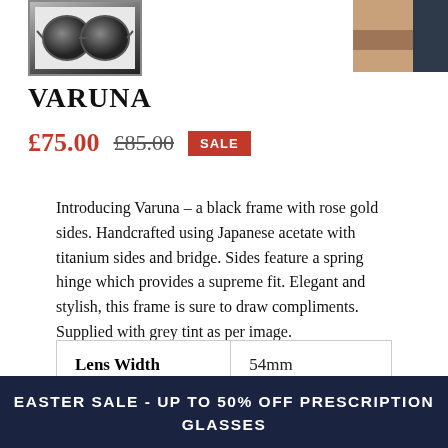[Figure (photo): Left thumbnail: sunglasses with dark round lenses on white background with border]
[Figure (photo): Right thumbnail: brown leather and dark frame accessory detail]
VARUNA
£75.00  £85.00  SALE
Introducing Varuna – a black frame with rose gold sides. Handcrafted using Japanese acetate with titanium sides and bridge. Sides feature a spring hinge which provides a supreme fit. Elegant and stylish, this frame is sure to draw compliments. Supplied with grey tint as per image.
| Lens Width | 54mm |
| --- | --- |
EASTER SALE - UP TO 50% OFF PRESCRIPTION GLASSES